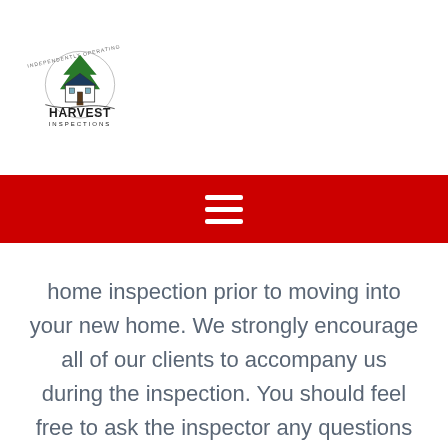[Figure (logo): Harvest Inspections logo with house illustration and green tree, circular text above, bold text HARVEST INSPECTIONS below]
[Figure (other): Red navigation bar with white hamburger menu icon (three horizontal lines)]
home inspection prior to moving into your new home. We strongly encourage all of our clients to accompany us during the inspection. You should feel free to ask the inspector any questions you may have during the inspection process. The inspector will point out problems and explain them to you. The inspector will also show you the good